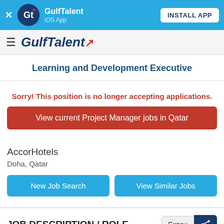GulfTalent iOS App — INSTALL APP
[Figure (logo): GulfTalent logo with hamburger menu in navigation bar]
Learning and Development Executive
Sorry! This position is no longer accepting applications.
View current Project Manager jobs in Qatar
AccorHotels
Doha, Qatar
New Job Search
View Similar Jobs
JOB DESCRIPTION / ROLE